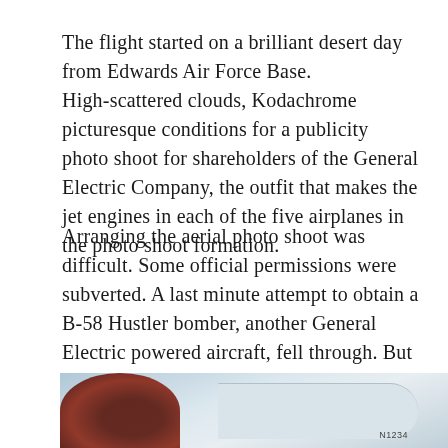The flight started on a brilliant desert day from Edwards Air Force Base. High-scattered clouds, Kodachrome picturesque conditions for a publicity photo shoot for shareholders of the General Electric Company, the outfit that makes the jet engines in each of the five airplanes in the photo shoot formation.
Arranging the aerial photo shoot was difficult. Some official permissions were subverted. A last minute attempt to obtain a B-58 Hustler bomber, another General Electric powered aircraft, fell through. But this formation was spectacular enough.
[Figure (photo): Partial photograph showing what appears to be a cockpit canopy/aircraft interior on the left and a white aircraft wing on the right, with a light blue sky background.]